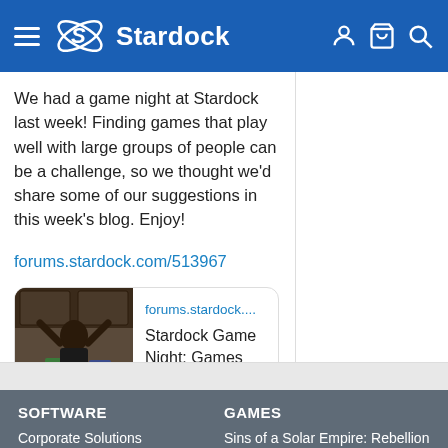[Figure (screenshot): Stardock website header with blue background, hamburger menu icon, Stardock logo (stylized white S with rings), brand name 'Stardock', and user/cart/search icons on the right]
We had a game night at Stardock last week! Finding games that play well with large groups of people can be a challenge, so we thought we'd share some of our suggestions in this week's blog. Enjoy!
forums.stardock.com/513967
[Figure (screenshot): Link preview card showing a person with arms raised among board games, domain 'forums.stardock....' and title 'Stardock Game Night: Games fo...']
SOFTWARE
GAMES
Object Desktop
Galactic Civilizations IV
Corporate Solutions
Sins of a Solar Empire: Rebellion